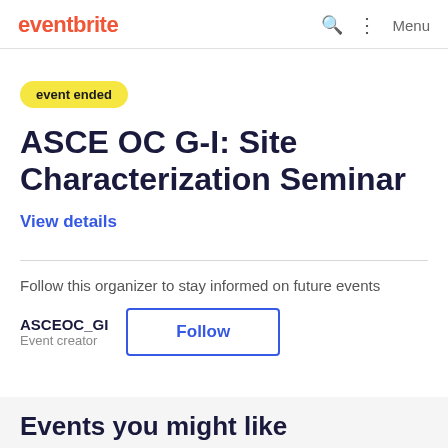eventbrite  Menu
event ended
ASCE OC G-I: Site Characterization Seminar
View details
Follow this organizer to stay informed on future events
ASCEOC_GI
Event creator
Follow
Events you might like